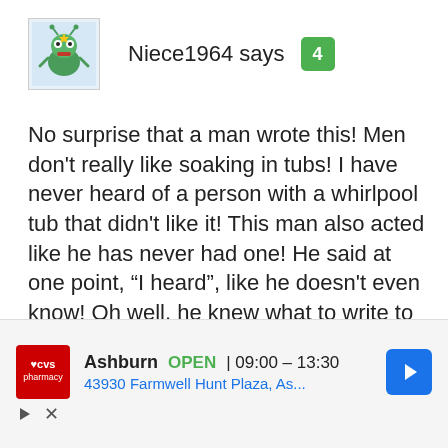[Figure (illustration): Avatar icon of a cartoon green alien/bug creature with antennae and arms, on a light blue background]
Niece1964 says  4
No surprise that a man wrote this! Men don't really like soaking in tubs! I have never heard of a person with a whirlpool tub that didn't like it! This man also acted like he has never had one! He said at one point, “I heard”, like he doesn't even know! Oh well, he knew what to write to get people to read! The majority of people
[Figure (screenshot): CVS Pharmacy advertisement banner showing Ashburn location, OPEN 09:00-13:30, address 43930 Farmwell Hunt Plaza, As..., with navigation arrow]